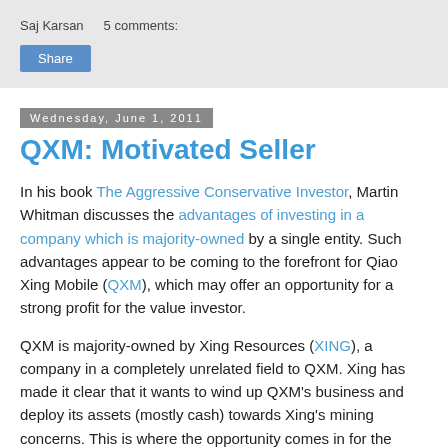Saj Karsan   5 comments:
Share
Wednesday, June 1, 2011
QXM: Motivated Seller
In his book The Aggressive Conservative Investor, Martin Whitman discusses the advantages of investing in a company which is majority-owned by a single entity. Such advantages appear to be coming to the forefront for Qiao Xing Mobile (QXM), which may offer an opportunity for a strong profit for the value investor.
QXM is majority-owned by Xing Resources (XING), a company in a completely unrelated field to QXM. Xing has made it clear that it wants to wind up QXM's business and deploy its assets (mostly cash) towards Xing's mining concerns. This is where the opportunity comes in for the minority investor, as any cash that comes out of QXM has to